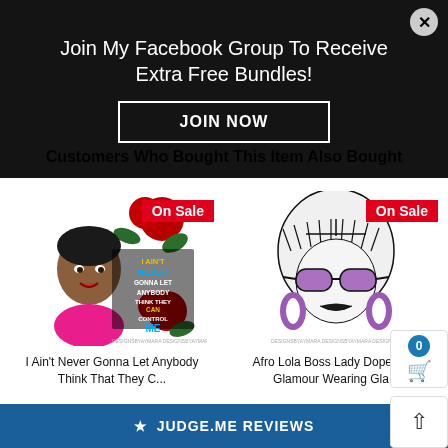Join My Facebook Group To Receive Extra Free Bundles!
JOIN NOW
Customers Who Bought This Item Also Bought
[Figure (illustration): Illustration of a Black woman with roses and text 'I Ain't Never Gonna Let Anybody Think They Can Control Me' with On Sale badge]
I Ain't Never Gonna Let Anybody Think That They C...
[Figure (illustration): Illustration of a stylish woman with white bob hair, large purple sunglasses and purple hoop earrings with On Sale badge]
Afro Lola Boss Lady Dope Diva Glamour Wearing Gla...
★ JUDGE.ME REVIEWS